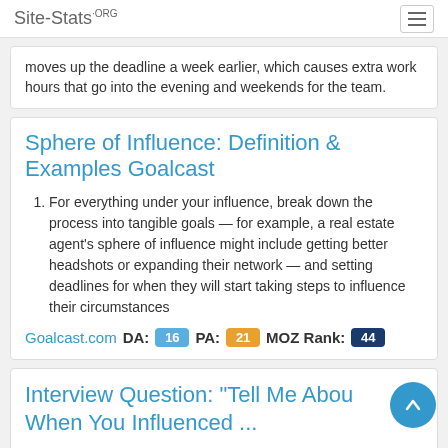Site-Stats.ORG
moves up the deadline a week earlier, which causes extra work hours that go into the evening and weekends for the team.
Sphere of Influence: Definition & Examples Goalcast
For everything under your influence, break down the process into tangible goals — for example, a real estate agent's sphere of influence might include getting better headshots or expanding their network — and setting deadlines for when they will start taking steps to influence their circumstances
Goalcast.com   DA: 16   PA: 21   MOZ Rank: 44
Interview Question: "Tell Me About When You Influenced ...